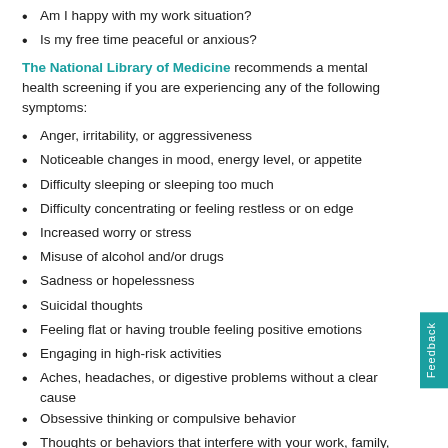Am I happy with my work situation?
Is my free time peaceful or anxious?
The National Library of Medicine recommends a mental health screening if you are experiencing any of the following symptoms:
Anger, irritability, or aggressiveness
Noticeable changes in mood, energy level, or appetite
Difficulty sleeping or sleeping too much
Difficulty concentrating or feeling restless or on edge
Increased worry or stress
Misuse of alcohol and/or drugs
Sadness or hopelessness
Suicidal thoughts
Feeling flat or having trouble feeling positive emotions
Engaging in high-risk activities
Aches, headaches, or digestive problems without a clear cause
Obsessive thinking or compulsive behavior
Thoughts or behaviors that interfere with your work, family, or social life
Unusual thinking or behaviors that concern other people
The worst thing you can do, Martin says, is to "go underground" with your feelings, as they tend to simply resurface in different ways. Yo...